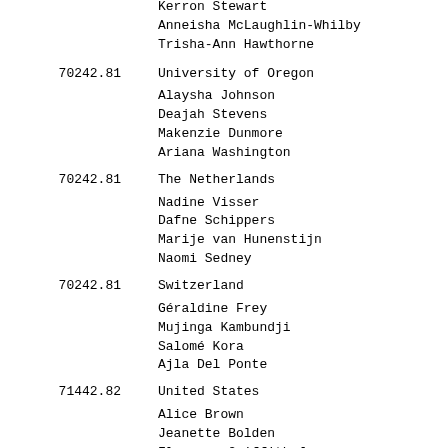| Rank | Time | Entry |
| --- | --- | --- |
|  |  | Kerron Stewart
Anneisha McLaughlin-Whilby
Trisha-Ann Hawthorne |
| 702 | 42.81 | University of Oregon

Alaysha Johnson
Deajah Stevens
Makenzie Dunmore
Ariana Washington |
| 702 | 42.81 | The Netherlands

Nadine Visser
Dafne Schippers
Marije van Hunenstijn
Naomi Sedney |
| 702 | 42.81 | Switzerland

Géraldine Frey
Mujinga Kambundji
Salomé Kora
Ajla Del Ponte |
| 714 | 42.82 | United States

Alice Brown
Jeanette Bolden
Florence Griffith-Joyner
… |